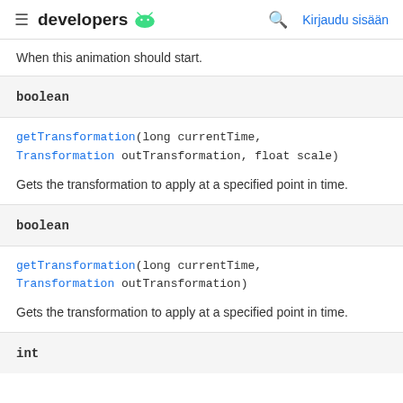≡ developers 🤖  🔍  Kirjaudu sisään
When this animation should start.
boolean
getTransformation(long currentTime, Transformation outTransformation, float scale)
Gets the transformation to apply at a specified point in time.
boolean
getTransformation(long currentTime, Transformation outTransformation)
Gets the transformation to apply at a specified point in time.
int